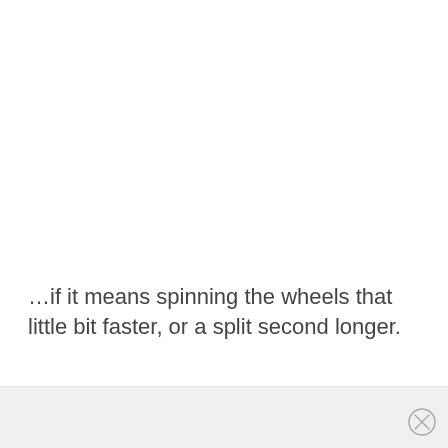…if it means spinning the wheels that little bit faster, or a split second longer.
[Figure (other): Footer bar with close (X) button circle icon in bottom-right corner]